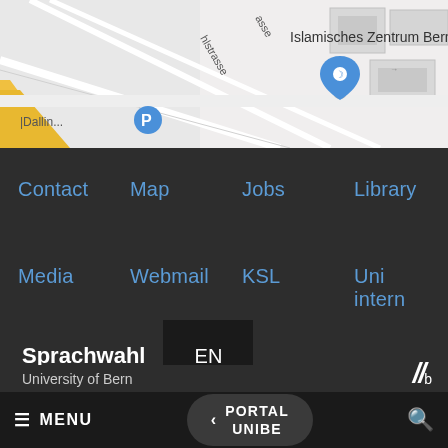[Figure (map): Google Maps screenshot showing Islamisches Zentrum Bern with street names including Äschistrasse, roads in Bern, Switzerland. A blue parking icon and a map pin are visible.]
Contact
Map
Jobs
Library
Media
Webmail
KSL
Uni intern
Sprachwahl
EN
University of Bern
≡ MENU   < PORTAL UNIBE   🔍